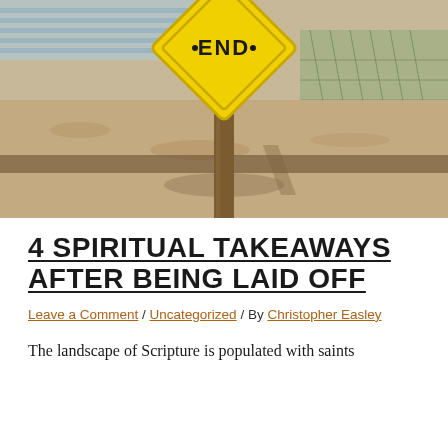[Figure (photo): Outdoor photograph of a yellow diamond-shaped road sign reading 'END' mounted on a wooden post, with sandy ground, a chain-link fence, and bleachers visible in the background. The image has a sepia/muted tone.]
4 SPIRITUAL TAKEAWAYS AFTER BEING LAID OFF
Leave a Comment / Uncategorized / By Christopher Easley
The landscape of Scripture is populated with saints